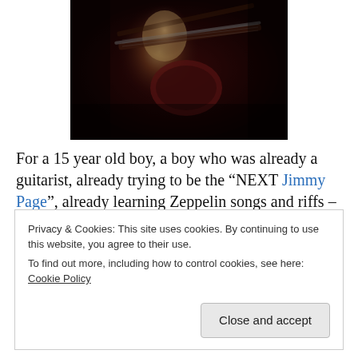[Figure (photo): A guitarist (resembling Jimmy Page) playing a double-neck guitar on stage, shot in dark reddish stage lighting]
For a 15 year old boy, a boy who was already a guitarist, already trying to be the “NEXT Jimmy Page”, already learning Zeppelin songs and riffs – many of which, I still play to this date – 45 years later – I kept trying to “be” Jimmy Page for a number of years, when I finally decided
Privacy & Cookies: This site uses cookies. By continuing to use this website, you agree to their use.
To find out more, including how to control cookies, see here: Cookie Policy